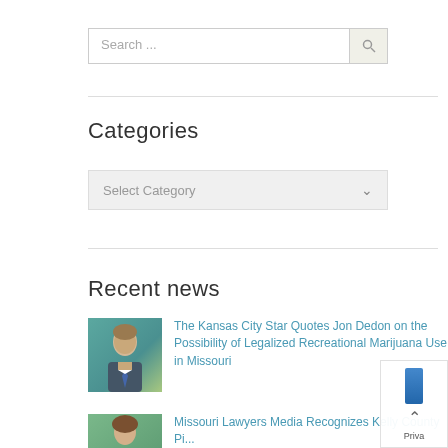[Figure (screenshot): Search input box with placeholder 'Search ...' and a search button with magnifying glass icon]
Categories
[Figure (screenshot): Dropdown select box labeled 'Select Category' with chevron arrow]
Recent news
[Figure (photo): Headshot of Jon Dedon, a young man in a suit with tie, against a teal/green background]
The Kansas City Star Quotes Jon Dedon on the Possibility of Legalized Recreational Marijuana Use in Missouri
[Figure (photo): Headshot of a woman against a green background]
Missouri Lawyers Media Recognizes Kelly County Pi...